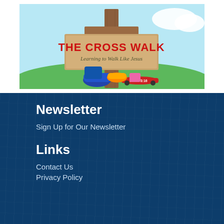[Figure (illustration): The Cross Walk logo: a wooden cross sign post with red bold text 'THE CROSS WALK' and subtitle 'Learning to Walk Like Jesus' in script font. Various shoes and a skateboard are piled at the base. Sky blue background with green grass. A red skateboard reads 'JOHN 3:16'.]
Newsletter
Sign Up for Our Newsletter
Links
Contact Us
Privacy Policy